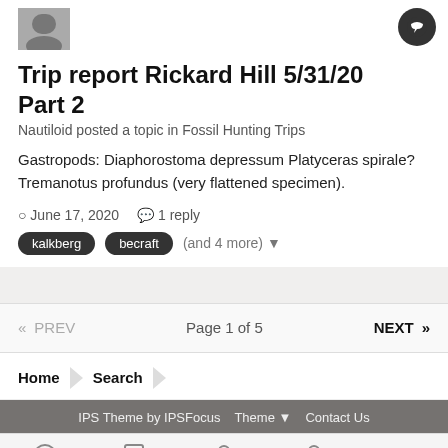[Figure (photo): Small avatar/profile photo thumbnail in grayscale]
Trip report Rickard Hill 5/31/20 Part 2
Nautiloid posted a topic in Fossil Hunting Trips
Gastropods: Diaphorostoma depressum Platyceras spirale? Tremanotus profundus (very flattened specimen).
June 17, 2020   1 reply
kalkberg   becraft   (and 4 more)
Page 1 of 5
Home  Search
IPS Theme by IPSFocus   Theme   Contact Us
Forums   Unread   Sign In   Register   More